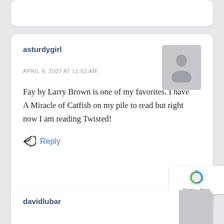asturdygirl
APRIL 9, 2007 AT 11:53 AM
Fay by Larry Brown is one of my favorites. I have A Miracle of Catfish on my pile to read but right now I am reading Twisted!
Reply
davidlubar